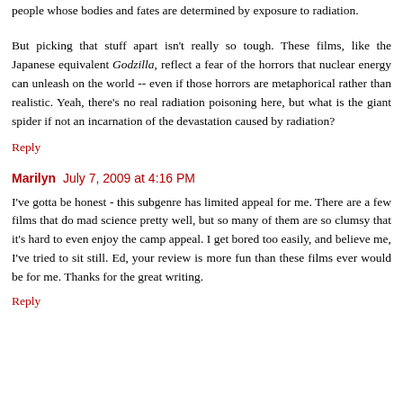people whose bodies and fates are determined by exposure to radiation.
But picking that stuff apart isn't really so tough. These films, like the Japanese equivalent Godzilla, reflect a fear of the horrors that nuclear energy can unleash on the world -- even if those horrors are metaphorical rather than realistic. Yeah, there's no real radiation poisoning here, but what is the giant spider if not an incarnation of the devastation caused by radiation?
Reply
Marilyn  July 7, 2009 at 4:16 PM
I've gotta be honest - this subgenre has limited appeal for me. There are a few films that do mad science pretty well, but so many of them are so clumsy that it's hard to even enjoy the camp appeal. I get bored too easily, and believe me, I've tried to sit still. Ed, your review is more fun than these films ever would be for me. Thanks for the great writing.
Reply